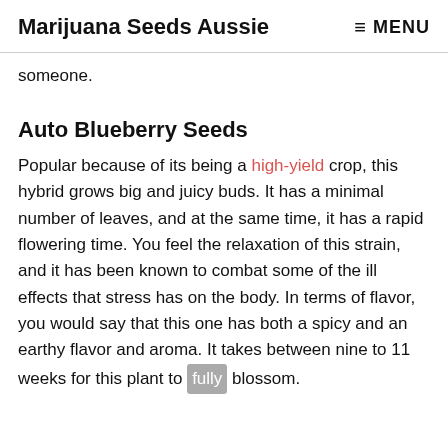Marijuana Seeds Aussie   ≡ MENU
someone.
Auto Blueberry Seeds
Popular because of its being a high-yield crop, this hybrid grows big and juicy buds. It has a minimal number of leaves, and at the same time, it has a rapid flowering time. You feel the relaxation of this strain, and it has been known to combat some of the ill effects that stress has on the body. In terms of flavor, you would say that this one has both a spicy and an earthy flavor and aroma. It takes between nine to 11 weeks for this plant to fully blossom.